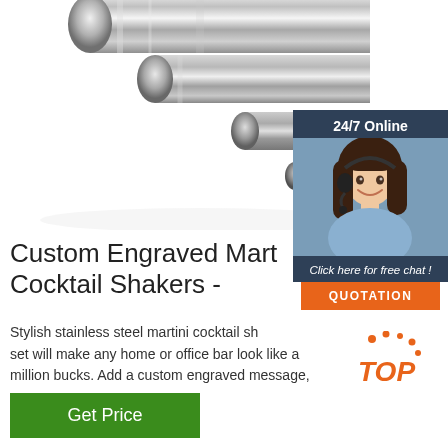[Figure (photo): Stainless steel cylindrical rods/bars arranged diagonally on white background]
[Figure (infographic): 24/7 Online chat widget showing female customer service agent with headset, text 'Click here for free chat!' and orange QUOTATION button]
Custom Engraved Martini Cocktail Shakers -
Stylish stainless steel martini cocktail shaker set will make any home or office bar look like a million bucks. Add a custom engraved message, monogram, or …
[Figure (infographic): Orange TOP navigation button with dot decorations]
Get Price